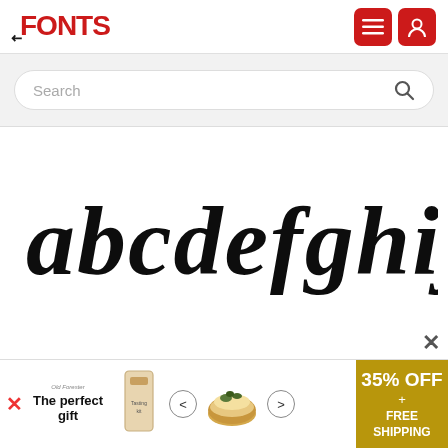FFONTS
[Figure (screenshot): Search bar with placeholder text 'Search' and magnifying glass icon on a light grey background]
[Figure (illustration): Script/handwritten font preview showing lowercase letters: abcdefghijklm in a brush script style]
[Figure (infographic): Advertisement banner: 'The perfect gift' with food product image, navigation arrows, and '35% OFF + FREE SHIPPING' offer in gold/brown box]